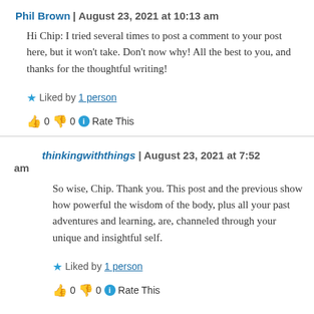Phil Brown | August 23, 2021 at 10:13 am
Hi Chip: I tried several times to post a comment to your post here, but it won't take. Don't now why! All the best to you, and thanks for the thoughtful writing!
★ Liked by 1 person
👍 0 👎 0 ℹ Rate This
thinkingwiththings | August 23, 2021 at 7:52 am
So wise, Chip. Thank you. This post and the previous show how powerful the wisdom of the body, plus all your past adventures and learning, are, channeled through your unique and insightful self.
★ Liked by 1 person
👍 0 👎 0 ℹ Rate This